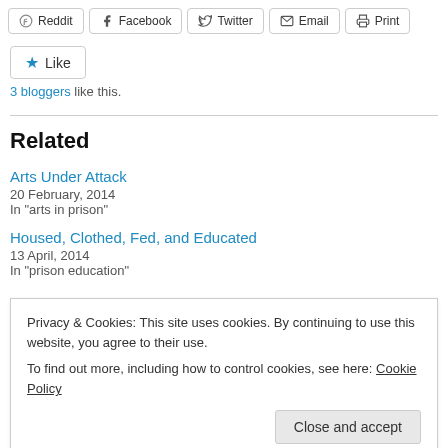[Figure (other): Share buttons row: Reddit, Facebook, Twitter, Email, Print]
[Figure (other): Like button with star icon]
3 bloggers like this.
Related
Arts Under Attack
20 February, 2014
In "arts in prison"
Housed, Clothed, Fed, and Educated
13 April, 2014
In "prison education"
Privacy & Cookies: This site uses cookies. By continuing to use this website, you agree to their use.
To find out more, including how to control cookies, see here: Cookie Policy
Close and accept
7 May, 2019   5 Replies